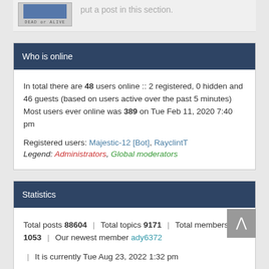[Figure (photo): Partial image of a car (Dead or Alive themed), cut off at top]
put a post in this section.
Who is online
In total there are 48 users online :: 2 registered, 0 hidden and 46 guests (based on users active over the past 5 minutes)
Most users ever online was 389 on Tue Feb 11, 2020 7:40 pm
Registered users: Majestic-12 [Bot], RayclintT
Legend: Administrators, Global moderators
Statistics
Total posts 88604 | Total topics 9171 | Total members 1053 | Our newest member ady6372
| It is currently Tue Aug 23, 2022 1:32 pm